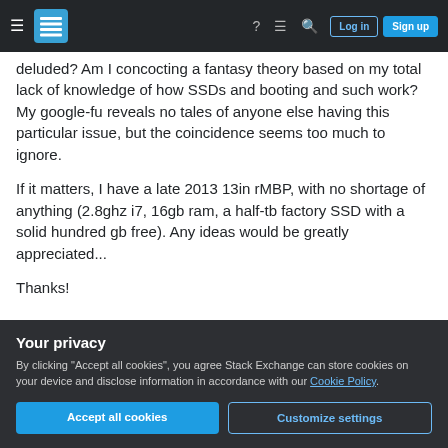Stack Exchange navigation bar with hamburger menu, logo, help, chat, search icons, Log in and Sign up buttons
deluded? Am I concocting a fantasy theory based on my total lack of knowledge of how SSDs and booting and such work? My google-fu reveals no tales of anyone else having this particular issue, but the coincidence seems too much to ignore.
If it matters, I have a late 2013 13in rMBP, with no shortage of anything (2.8ghz i7, 16gb ram, a half-tb factory SSD with a solid hundred gb free). Any ideas would be greatly appreciated...
Thanks!
Your privacy
By clicking "Accept all cookies", you agree Stack Exchange can store cookies on your device and disclose information in accordance with our Cookie Policy.
Accept all cookies
Customize settings